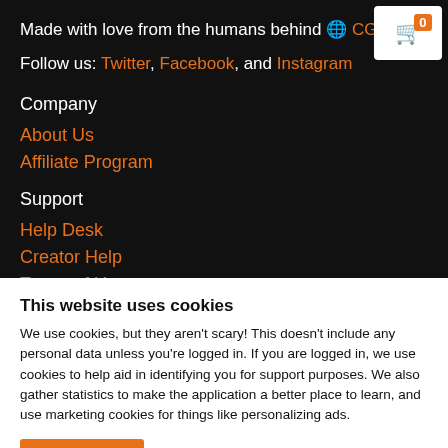Made with love from the humans behind 🌐 CG C
Follow us: Twitter, Facebook, and Instagram
Company
About Us
Affiliate Program
Support
Help Desk
Creator Help
Terms of Use
This website uses cookies
We use cookies, but they aren't scary! This doesn't include any personal data unless you're logged in. If you are logged in, we use cookies to help aid in identifying you for support purposes. We also gather statistics to make the application a better place to learn, and use marketing cookies for things like personalizing ads.
OK
Settings